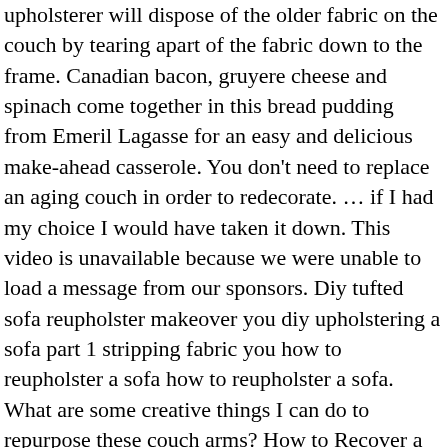upholsterer will dispose of the older fabric on the couch by tearing apart of the fabric down to the frame. Canadian bacon, gruyere cheese and spinach come together in this bread pudding from Emeril Lagasse for an easy and delicious make-ahead casserole. You don't need to replace an aging couch in order to redecorate. … if I had my choice I would have taken it down. This video is unavailable because we were unable to load a message from our sponsors. Diy tufted sofa reupholster makeover you diy upholstering a sofa part 1 stripping fabric you how to reupholster a sofa how to reupholster a sofa. What are some creative things I can do to repurpose these couch arms? How to Recover a Newer Curved Backed Couch/Chair 2 hrs 15 min #5. Reupholster it. I am terrified to reupholster my 80's hand-me-down couch О о. See more ideas about